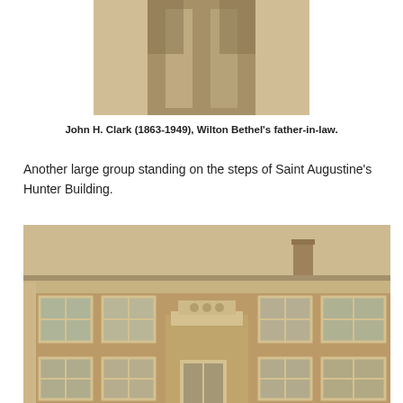[Figure (photo): Partial torso/jacket photo of John H. Clark, sepia toned, cropped at top]
John H. Clark (1863-1949), Wilton Bethel's father-in-law.
Another large group standing on the steps of Saint Augustine's Hunter Building.
[Figure (photo): Sepia photograph of Saint Augustine's Hunter Building, a two-story brick building with multiple windows and a decorative entrance portico]